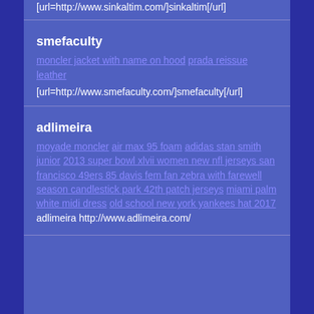[url=http://www.sinkaltim.com/]sinkaltim[/url]
smefaculty
moncler jacket with name on hood prada reissue leather [url=http://www.smefaculty.com/]smefaculty[/url]
adlimeira
moyade moncler air max 95 foam adidas stan smith junior 2013 super bowl xlvii women new nfl jerseys san francisco 49ers 85 davis fem fan zebra with farewell season candlestick park 42th patch jerseys miami palm white midi dress old school new york yankees hat 2017 adlimeira http://www.adlimeira.com/